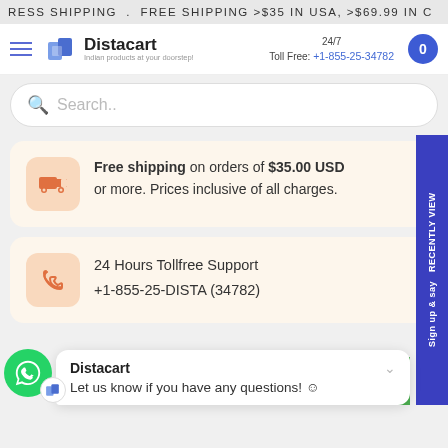RESS SHIPPING . FREE SHIPPING >$35 IN USA, >$69.99 IN C
[Figure (logo): Distacart logo with truck icon and tagline 'Indian products at your doorstep!']
24/7 Toll Free: +1-855-25-34782
Search..
Free shipping on orders of $35.00 USD or more. Prices inclusive of all charges.
Sign up & say RECENTLY VIEW
24 Hours Tollfree Support
+1-855-25-DISTA (34782)
Distacart
Let us know if you have any questions! 😊